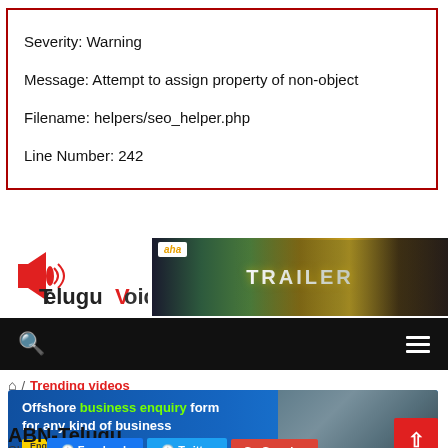Severity: Warning
Message: Attempt to assign property of non-object
Filename: helpers/seo_helper.php
Line Number: 242
[Figure (logo): TeluguVoice website logo with megaphone icon and red 'V', next to an aha streaming service TRAILER advertisement banner]
[Figure (screenshot): Black navigation bar with search icon on left and hamburger menu icon on right]
/ Trending videos
[Figure (infographic): Blue advertisement banner reading 'Offshore business enquiry form for any kind of business' with Enquiry Now button and business people photo]
ABN-Telugu
Share  Facebook  Twitter  G+ Google+